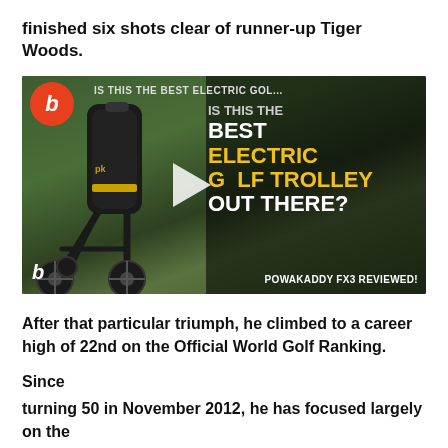finished six shots clear of runner-up Tiger Woods.
[Figure (screenshot): Video thumbnail showing a black electric golf trolley (PowaKaddy FX3) on a golf course, with overlaid bold text reading 'IS THIS THE BEST ELECTRIC GOLF TROLLEY OUT THERE? POWAKADDY FX3 REVIEWED!' The thumbnail has a play button overlay and the Bunkered logo (b) in red circle top-left.]
After that particular triumph, he climbed to a career high of 22nd on the Official World Golf Ranking.
Since
turning 50 in November 2012, he has focused largely on the